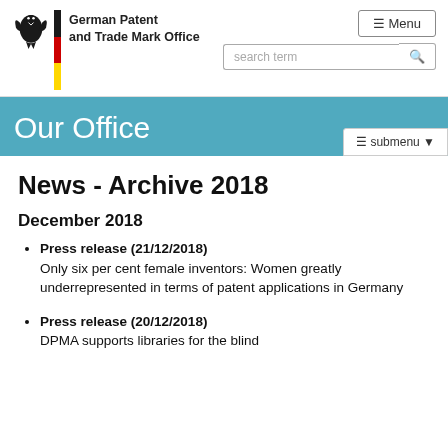German Patent and Trade Mark Office
Our Office
News - Archive 2018
December 2018
Press release (21/12/2018)
Only six per cent female inventors: Women greatly underrepresented in terms of patent applications in Germany
Press release (20/12/2018)
DPMA supports libraries for the blind